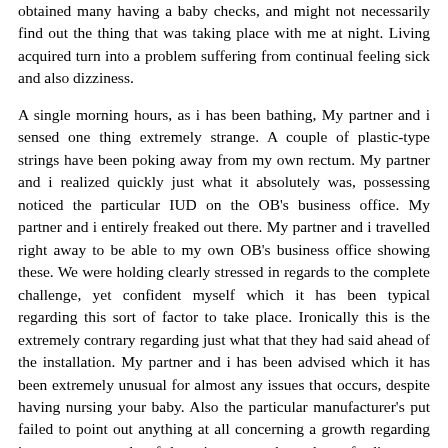obtained many having a baby checks, and might not necessarily find out the thing that was taking place with me at night. Living acquired turn into a problem suffering from continual feeling sick and also dizziness.
A single morning hours, as i has been bathing, My partner and i sensed one thing extremely strange. A couple of plastic-type strings have been poking away from my own rectum. My partner and i realized quickly just what it absolutely was, possessing noticed the particular IUD on the OB's business office. My partner and i entirely freaked out there. My partner and i travelled right away to be able to my own OB's business office showing these. We were holding clearly stressed in regards to the complete challenge, yet confident myself which it has been typical regarding this sort of factor to take place. Ironically this is the extremely contrary regarding just what that they had said ahead of the installation. My partner and i has been advised which it has been extremely unusual for almost any issues that occurs, despite having nursing your baby. Also the particular manufacturer's put failed to point out anything at all concerning a growth regarding issues as a result of lactation or perhaps breastfeeding, not necessarily right up until they will found wind flow regarding my own account. The particular registered nurse wished to eliminate the IUD there, yet My partner and i has been frightened than it getting attached with one thing within my physique, getting in which it turned out within my rectal tooth cavity regarding above per year.